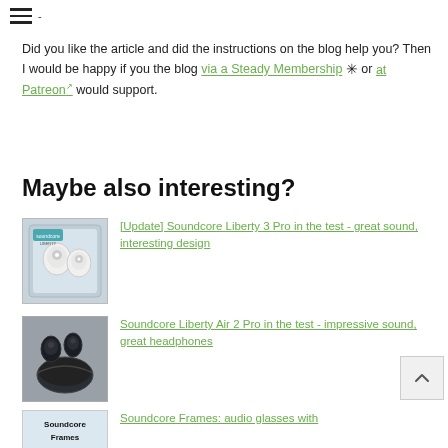≡ -
Did you like the article and did the instructions on the blog help you? Then I would be happy if you the blog via a Steady Membership ✳ or at Patreon would support.
Maybe also interesting?
[Figure (photo): Product photo of Soundcore Liberty 3 Pro earbuds in packaging box]
[Update] Soundcore Liberty 3 Pro in the test - great sound, interesting design
[Figure (photo): Photo of Soundcore Liberty Air 2 Pro earbuds with charging case on grey background]
Soundcore Liberty Air 2 Pro in the test - impressive sound, great headphones
[Figure (logo): Soundcore Frames product logo/thumbnail]
Soundcore Frames: audio glasses with